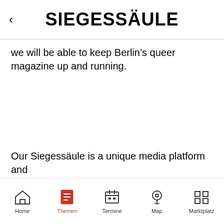SIEGESSÄULE
we will be able to keep Berlin's queer magazine up and running.
Our Siegessäule is a unique media platform and
Home | Themen | Termine | Map | Marktplatz